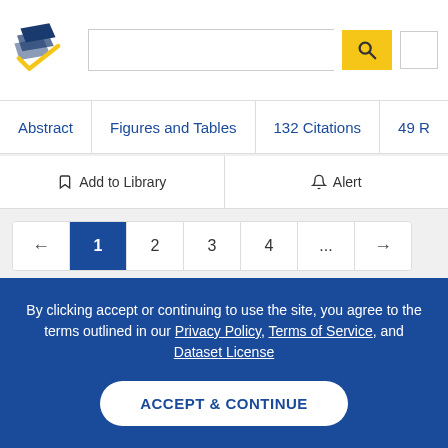Semantic Scholar — header with logo, search bar, search button, and user avatar
Abstract | Figures and Tables | 132 Citations | 49 R...
Add to Library | Alert
Pagination: ← 1 2 3 4 ... →
References
By clicking accept or continuing to use the site, you agree to the terms outlined in our Privacy Policy, Terms of Service, and Dataset License
ACCEPT & CONTINUE